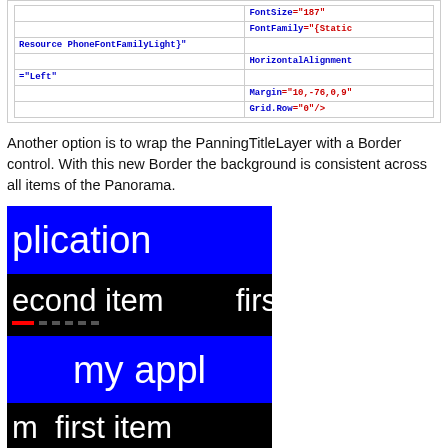|  |  |
| --- | --- |
|  | FontSize="187" |
|  | FontFamily="{Static |
| Resource PhoneFontFamilyLight}" |  |
|  | HorizontalAlignment |
| ="Left" |  |
|  | Margin="10,-76,0,9" |
|  | Grid.Row="0"/> |
Another option is to wrap the PanningTitleLayer with a Border control. With this new Border the background is consistent across all items of the Panorama.
[Figure (screenshot): Two screenshots of a Windows Phone Panorama app showing consistent background color (blue) across panorama items. Top screenshot shows 'plication' in blue header and 'econd item' and 'firs' on black background with red/grey indicator dots. Bottom screenshot shows 'my appl' in blue and 'm first item' on black background.]